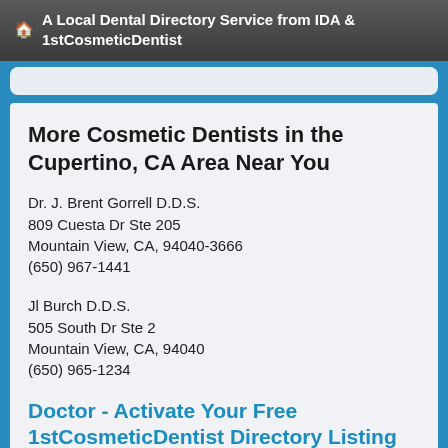🏠 A Local Dental Directory Service from IDA & 1stCosmeticDentist
More Cosmetic Dentists in the Cupertino, CA Area Near You
Dr. J. Brent Gorrell D.D.S.
809 Cuesta Dr Ste 205
Mountain View, CA, 94040-3666
(650) 967-1441
Jl Burch D.D.S.
505 South Dr Ste 2
Mountain View, CA, 94040
(650) 965-1234
Doctor - Activate Your Free 1stCosmeticDentist Directory Listing
Dr. Joe Provines D.D.S.